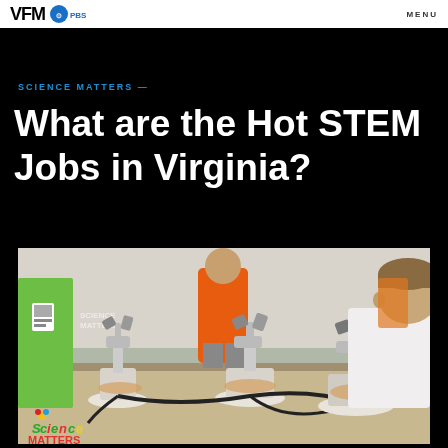VPM PBS  MENU
SCIENCE MATTERS —
What are the Hot STEM Jobs in Virginia?
[Figure (photo): Children using microscopes at a table in a science education setting. A boy in white leans over a microscope on the right, a child in orange stands in the background, and a green-shirted person holds a badge on the left. Science Matters logo visible in lower-left corner of photo.]